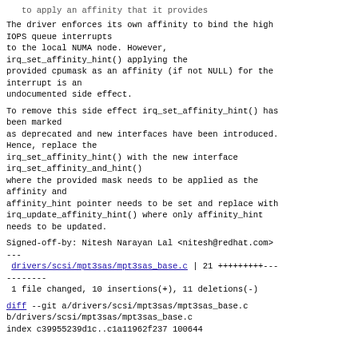to apply an affinity that it provides
The driver enforces its own affinity to bind the high IOPS queue interrupts
to the local NUMA node. However,
irq_set_affinity_hint() applying the
provided cpumask as an affinity (if not NULL) for the
interrupt is an
undocumented side effect.
To remove this side effect irq_set_affinity_hint() has been marked
as deprecated and new interfaces have been introduced.
Hence, replace the
irq_set_affinity_hint() with the new interface
irq_set_affinity_and_hint()
where the provided mask needs to be applied as the
affinity and
affinity_hint pointer needs to be set and replace with
irq_update_affinity_hint() where only affinity_hint
needs to be updated.
Signed-off-by: Nitesh Narayan Lal <nitesh@redhat.com>
---
drivers/scsi/mpt3sas/mpt3sas_base.c | 21 +++++++++---
--------
 1 file changed, 10 insertions(+), 11 deletions(-)
diff --git a/drivers/scsi/mpt3sas/mpt3sas_base.c
b/drivers/scsi/mpt3sas/mpt3sas_base.c
index c39955239d1c..c1a11962f237 100644